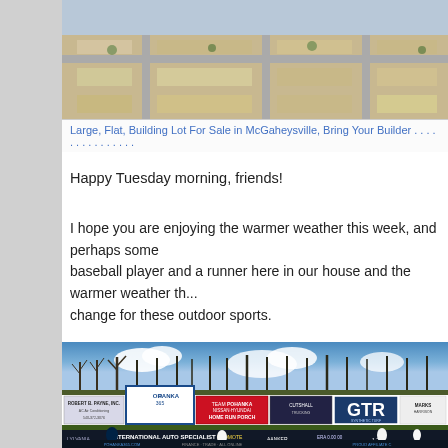[Figure (photo): Aerial photo of a large flat building lot for sale in McGaheysville]
Large, Flat, Building Lot For Sale in McGaheysville, Bring Your Builder . . . . . . . . . . . . . . .
Happy Tuesday morning, friends!
I hope you are enjoying the warmer weather this week, and perhaps some baseball player and a runner here in our house and the warmer weather th... change for these outdoor sports.
[Figure (photo): Baseball stadium photo showing outfield wall with multiple sponsor signs including Pohanka365, Team Pohanka Nissan-Hyundai Home Run Porch, GTR Synthetic Turf, Robert B. Payne Inc., and International Auto Specialist scoreboard]